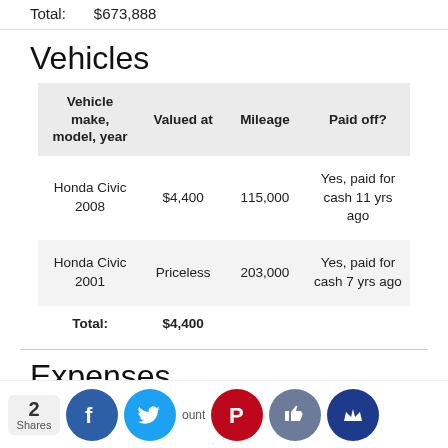Total:    $673,888
Vehicles
| Vehicle make, model, year | Valued at | Mileage | Paid off? |
| --- | --- | --- | --- |
| Honda Civic 2008 | $4,400 | 115,000 | Yes, paid for cash 11 yrs ago |
| Honda Civic 2001 | Priceless | 203,000 | Yes, paid for cash 7 yrs ago |
Expenses
2 Shares